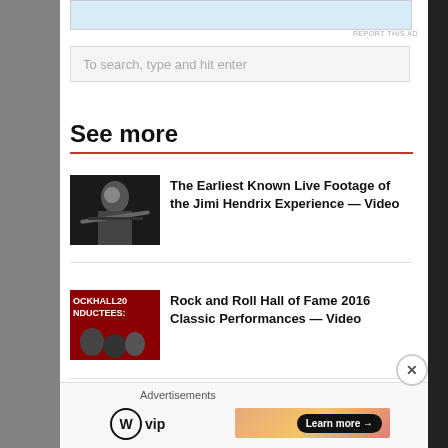[Figure (other): Top advertisement banner (light blue rectangle)]
REPORT THIS AD
To search, type and hit enter
See more
[Figure (photo): Black and white photo of Jimi Hendrix playing guitar on stage]
The Earliest Known Live Footage of the Jimi Hendrix Experience — Video
[Figure (photo): Rock and Roll Hall of Fame 2016 Inductees promotional image with red background]
Rock and Roll Hall of Fame 2016 Classic Performances — Video
Advertisements
[Figure (logo): WordPress VIP logo]
[Figure (other): Advertisement banner with gradient orange/pink background and Learn more button]